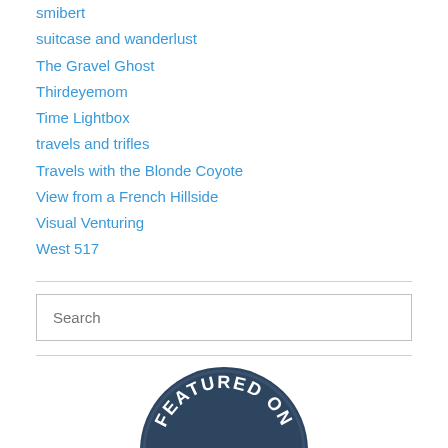smibert
suitcase and wanderlust
The Gravel Ghost
Thirdeyemom
Time Lightbox
travels and trifles
Travels with the Blonde Coyote
View from a French Hillside
Visual Venturing
West 517
[Figure (logo): Featured On badge — dark navy circular badge with text FEATURED ON and a figure/icon below]